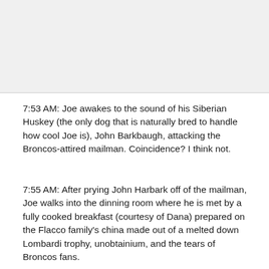[Figure (photo): Image placeholder at top of page, appears blank or cropped]
7:53 AM: Joe awakes to the sound of his Siberian Huskey (the only dog that is naturally bred to handle how cool Joe is), John Barkbaugh, attacking the Broncos-attired mailman. Coincidence? I think not.
7:55 AM: After prying John Harbark off of the mailman, Joe walks into the dinning room where he is met by a fully cooked breakfast (courtesy of Dana) prepared on the Flacco family's china made out of a melted down Lombardi trophy, unobtainium, and the tears of Broncos fans.